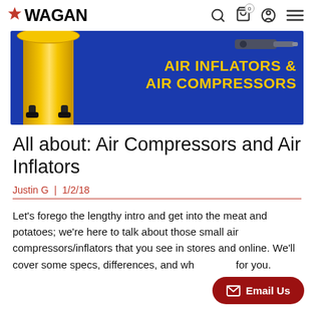WAGAN
[Figure (photo): Banner image for Wagan Air Inflators & Air Compressors showing a yellow air compressor tank on a blue background with yellow text reading AIR INFLATORS & AIR COMPRESSORS]
All about: Air Compressors and Air Inflators
Justin G | 1/2/18
Let's forego the lengthy intro and get into the meat and potatoes; we're here to talk about those small air compressors/inflators that you see in stores and online. We'll cover some specs, differences, and wh... for you.